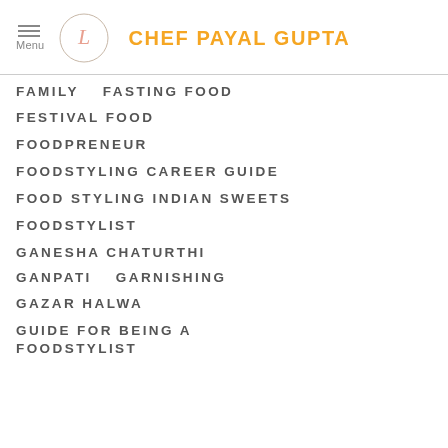Menu | Chef Payal Gupta
FAMILY
FASTING FOOD
FESTIVAL FOOD
FOODPRENEUR
FOODSTYLING CAREER GUIDE
FOOD STYLING INDIAN SWEETS
FOODSTYLIST
GANESHA CHATURTHI
GANPATI
GARNISHING
GAZAR HALWA
GUIDE FOR BEING A FOODSTYLIST